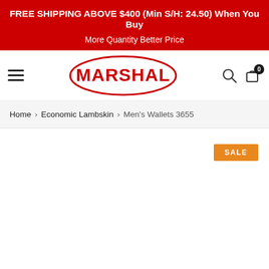FREE SHIPPING ABOVE $400 (Min S/H: 24.50) When You Buy More Quantity Better Price
[Figure (logo): Marshal brand logo - red oval with MARSHAL text in bold red letters]
Home > Economic Lambskin > Men's Wallets 3655
[Figure (other): Product image area with SALE badge in orange]